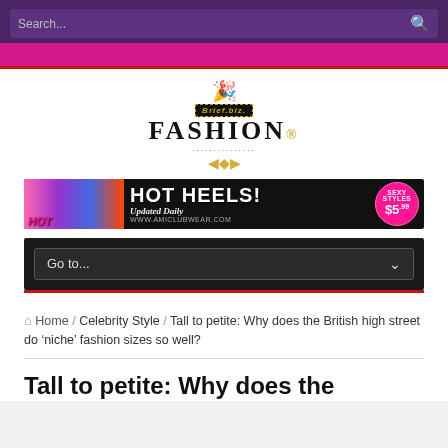Search...
[Figure (logo): Brief.biz Fashion logo with gold crown and chain decorations]
[Figure (infographic): Hot Heels! banner ad - Updated Daily, www.amiclubwear.com, Sexy Styles $5.99]
Go to...
Home / Celebrity Style / Tall to petite: Why does the British high street do 'niche' fashion sizes so well?
Tall to petite: Why does the